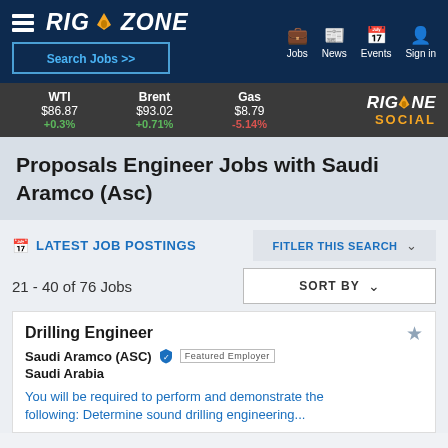RIGZONE - Search Jobs >> | Jobs | News | Events | Sign in
WTI $86.87 +0.3% | Brent $93.02 +0.71% | Gas $8.79 -5.14% | RIGZONE SOCIAL
Proposals Engineer Jobs with Saudi Aramco (Asc)
LATEST JOB POSTINGS
FITLER THIS SEARCH
21 - 40 of 76 Jobs
SORT BY
Drilling Engineer
Saudi Aramco (ASC) Featured Employer
Saudi Arabia
You will be required to perform and demonstrate the following: Determine sound drilling engineering...